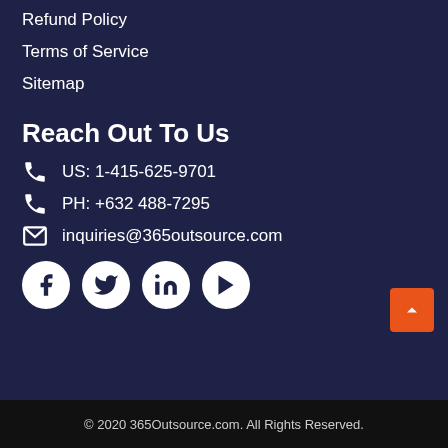Refund Policy
Terms of Service
Sitemap
Reach Out To Us
US: 1-415-625-9701
PH: +632 488-7295
inquiries@365outsource.com
[Figure (other): Social media icons: Facebook, Twitter, LinkedIn, YouTube]
© 2020 365Outsource.com. All Rights Reserved.